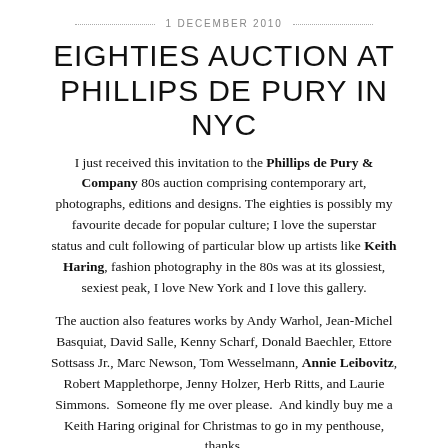1 DECEMBER 2010
EIGHTIES AUCTION AT PHILLIPS DE PURY IN NYC
I just received this invitation to the Phillips de Pury & Company 80s auction comprising contemporary art, photographs, editions and designs. The eighties is possibly my favourite decade for popular culture; I love the superstar status and cult following of particular blow up artists like Keith Haring, fashion photography in the 80s was at its glossiest, sexiest peak, I love New York and I love this gallery.
The auction also features works by Andy Warhol, Jean-Michel Basquiat, David Salle, Kenny Scharf, Donald Baechler, Ettore Sottsass Jr., Marc Newson, Tom Wesselmann, Annie Leibovitz, Robert Mapplethorpe, Jenny Holzer, Herb Ritts, and Laurie Simmons.  Someone fly me over please.  And kindly buy me a Keith Haring original for Christmas to go in my penthouse, thanks.